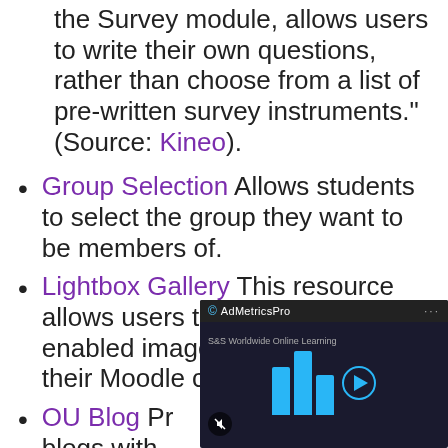Questionnaire module, and unlike the Survey module, allows users to write their own questions, rather than choose from a list of pre-written survey instruments." (Source: Kineo).
Group Selection Allows students to select the group they want to be members of.
Lightbox Gallery This resource allows users to create 'Lightbox' enabled image galleries within their Moodle course.
OU Blog Provides blogs with...
OU Wiki Similar to... alternative... wiki.
[Figure (screenshot): Video player overlay showing AdMetricsPro branding with S&S Worldwide Online Learning content, displaying animated bars and play button icon with mute button]